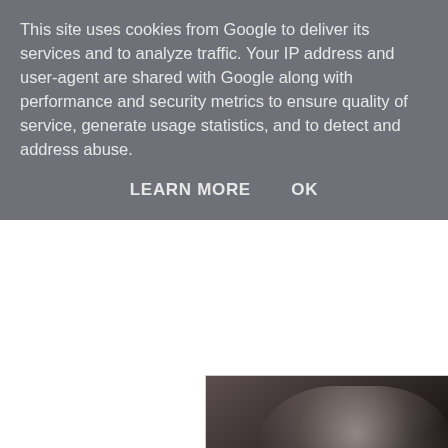This site uses cookies from Google to deliver its services and to analyze traffic. Your IP address and user-agent are shared with Google along with performance and security metrics to ensure quality of service, generate usage statistics, and to detect and address abuse.
LEARN MORE    OK
[Figure (photo): Partial photo of a person, appears to be bottom half, in a seated position, wearing black stockings/tights and a white/light colored skirt or dress, against a light background.]
when i was invited to the hyper japan and eat japan christmas event this year i just couldn't wait. let's face it - seafood, sushi and sake and i'm there.
overwhelmed with all the brilliant stalls (and hunger from my two hour journey from leicester!), i spent the first half an hour deciding what i wanted for lunch. sadly around 20 minutes of that was in a cash point queue getting out money to buy... everything. more cash points please, earls court!